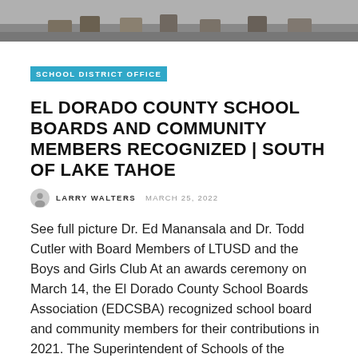[Figure (photo): Partial photo of people at an event, showing legs and feet, cropped at top of page]
SCHOOL DISTRICT OFFICE
EL DORADO COUNTY SCHOOL BOARDS AND COMMUNITY MEMBERS RECOGNIZED | SOUTH OF LAKE TAHOE
LARRY WALTERS  MARCH 25, 2022
See full picture Dr. Ed Manansala and Dr. Todd Cutler with Board Members of LTUSD and the Boys and Girls Club At an awards ceremony on March 14, the El Dorado County School Boards Association (EDCSBA) recognized school board and community members for their contributions in 2021. The Superintendent of Schools of the County, Dr. ...
Read More
[Figure (illustration): Blue triangle/arrow shape pointing upward at bottom of page]